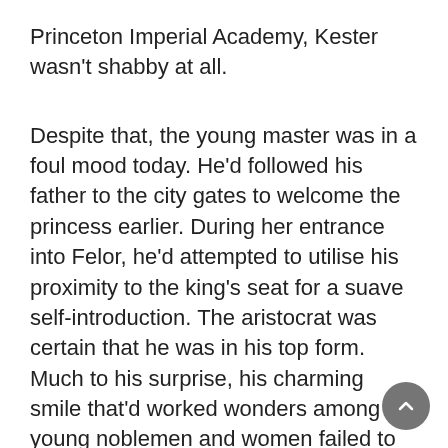Princeton Imperial Academy, Kester wasn't shabby at all.
Despite that, the young master was in a foul mood today. He'd followed his father to the city gates to welcome the princess earlier. During her entrance into Felor, he'd attempted to utilise his proximity to the king's seat for a suave self-introduction. The aristocrat was certain that he was in his top form. Much to his surprise, his charming smile that'd worked wonders among young noblemen and women failed to elicit any emotion from Angelina.